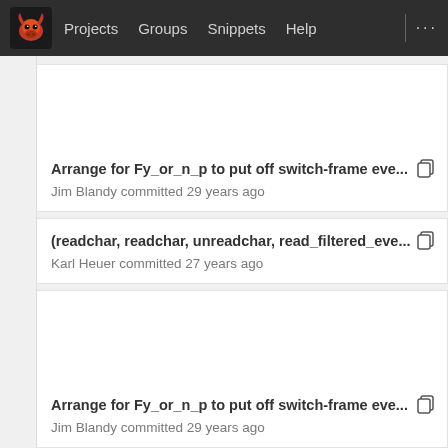Projects  Groups  Snippets  Help
Arrange for Fy_or_n_p to put off switch-frame eve...  Jim Blandy committed 29 years ago
(readchar, readchar, unreadchar, read_filtered_eve...  Karl Heuer committed 27 years ago
Arrange for Fy_or_n_p to put off switch-frame eve...  Jim Blandy committed 29 years ago